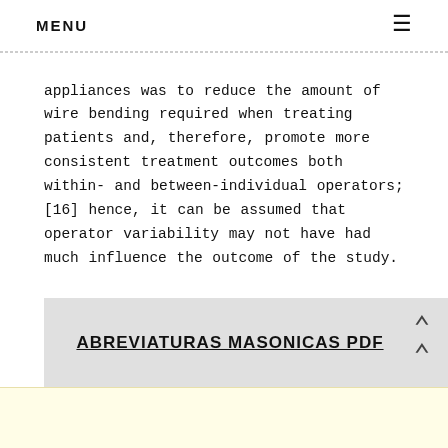MENU ☰
appliances was to reduce the amount of wire bending required when treating patients and, therefore, promote more consistent treatment outcomes both within- and between-individual operators; [16] hence, it can be assumed that operator variability may not have had much influence the outcome of the study.
ABREVIATURAS MASONICAS PDF